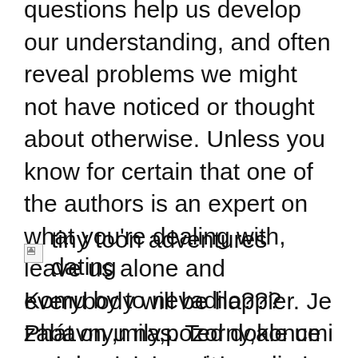questions help us develop our understanding, and often reveal problems we might not have noticed or thought about otherwise. Unless you know for certain that one of the authors is an expert on what you're dealing with, leave us alone and everybody will be happier. Je zabavny,mily,pozorny,ale umi se i urazit jak typicka zenska So we filter ruthlessly. Asi bude hodny, kdyz ma rad zvirata. If you can't live with this tiny toon adventures dating of discrimination, we suggest you pay somebody for a commercial support contract instead of asking hackers to personally donate help to you.
[Figure (other): Broken image placeholder with alt text 'tiny toon adventures dating']
Komu by to nevadilo??? Phát on u nas. Ted dokonce me chce seznamit z rodinou. Rodicu se tak ani nebojim. Prosto vim a muslim si to ze jim bude vadit vak jsme od